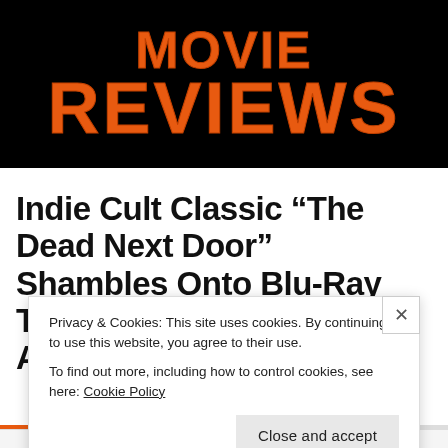[Figure (logo): Horror movie review website banner with orange dripping text 'Movie ReVieWS' on black background]
Indie Cult Classic “The Dead Next Door” Shambles Onto Blu-Ray This Fall, Preorders Now Available
Privacy & Cookies: This site uses cookies. By continuing to use this website, you agree to their use.
To find out more, including how to control cookies, see here: Cookie Policy
Close and accept